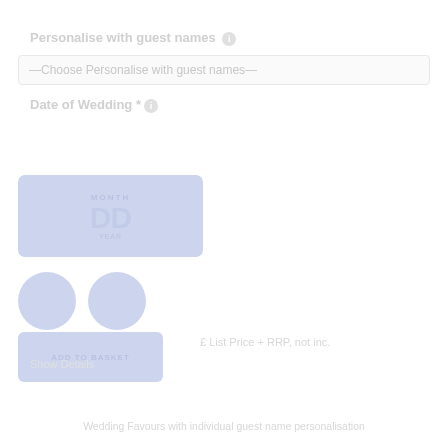Personalise with guest names ℹ
—Choose Personalise with guest names—
Date of Wedding * ℹ
[Figure (screenshot): A calendar/date picker widget showing a date, styled in blue-grey tones]
[Figure (illustration): Two circular social/sharing icons in blue-grey]
[Figure (screenshot): A button block in blue-grey tones with text]
£ List Price + RRP, not inc.
Show Details
Wedding Favours with individual guest name personalisation